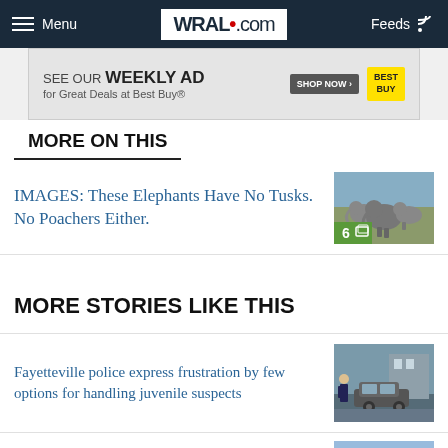WRAL.com — Menu | Feeds
[Figure (screenshot): Best Buy advertisement banner: SEE OUR WEEKLY AD for Great Deals at Best Buy® with SHOP NOW button and Best Buy logo]
MORE ON THIS
IMAGES: These Elephants Have No Tusks. No Poachers Either.
[Figure (photo): Thumbnail photo of a group of elephants with a green badge showing '6' and a gallery icon]
MORE STORIES LIKE THIS
Fayetteville police express frustration by few options for handling juvenile suspects
[Figure (photo): Thumbnail photo of a police officer near a car]
One Main Street...Mount N...